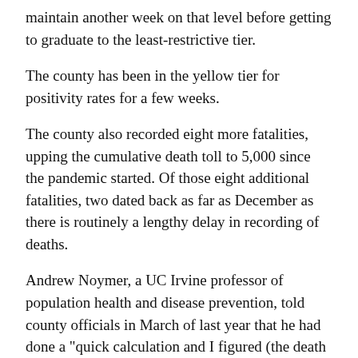maintain another week on that level before getting to graduate to the least-restrictive tier.
The county has been in the yellow tier for positivity rates for a few weeks.
The county also recorded eight more fatalities, upping the cumulative death toll to 5,000 since the pandemic started. Of those eight additional fatalities, two dated back as far as December as there is routinely a lengthy delay in recording of deaths.
Andrew Noymer, a UC Irvine professor of population health and disease prevention, told county officials in March of last year that he had done a "quick calculation and I figured (the death toll) would be in the 4,000s."